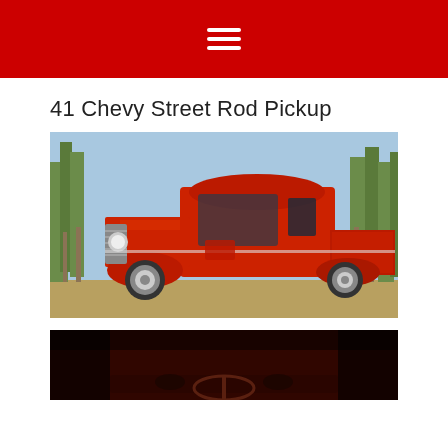menu icon / hamburger navigation
41 Chevy Street Rod Pickup
[Figure (photo): A red 1941 Chevrolet Street Rod Pickup truck parked on grass with pine trees in the background. The truck has a custom chrome grille, polished wheels, and a shiny red paint job.]
[Figure (photo): Partial view of the interior or another angle of the red 1941 Chevrolet Street Rod Pickup, showing a dark red/maroon interior with dashboard visible at the bottom of the frame.]